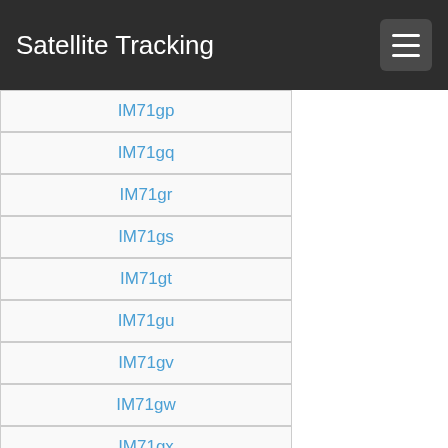Satellite Tracking
IM71gp
IM71gq
IM71gr
IM71gs
IM71gt
IM71gu
IM71gv
IM71gw
IM71gx
IM71ha
IM71hb
IM71hc
IM71hd
IM71he
IM71hf
IM71hg
IM71hh
IM71hi